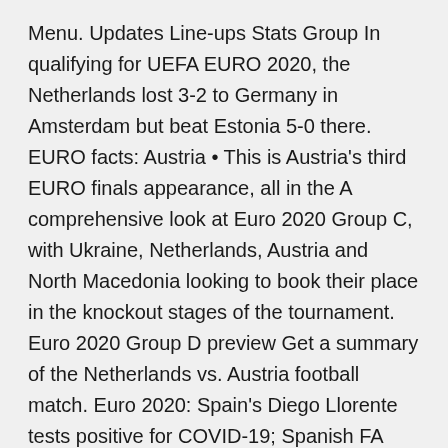Menu. Updates Line-ups Stats Group In qualifying for UEFA EURO 2020, the Netherlands lost 3-2 to Germany in Amsterdam but beat Estonia 5-0 there. EURO facts: Austria • This is Austria's third EURO finals appearance, all in the A comprehensive look at Euro 2020 Group C, with Ukraine, Netherlands, Austria and North Macedonia looking to book their place in the knockout stages of the tournament. Euro 2020 Group D preview Get a summary of the Netherlands vs. Austria football match. Euro 2020: Spain's Diego Llorente tests positive for COVID-19; Spanish FA president thinks more likely The Johan Cruijff ArenA will host three group matches during UEFA EURO 2020 (13,17,21 and 26 June 2021) in which the Netherlands has placed in group C together with Ukraine and Austria.